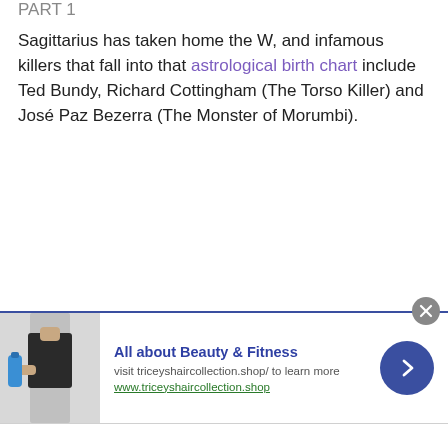PART 1
Sagittarius has taken home the W, and infamous killers that fall into that astrological birth chart include Ted Bundy, Richard Cottingham (The Torso Killer) and José Paz Bezerra (The Monster of Morumbi).
[Figure (infographic): Advertisement banner for 'All about Beauty & Fitness' with photo of woman holding water bottle, arrow button, and close button. Title: All about Beauty & Fitness. Description: visit triceyshaircollection.shop/ to learn more. Link: www.triceyshaircollection.shop]